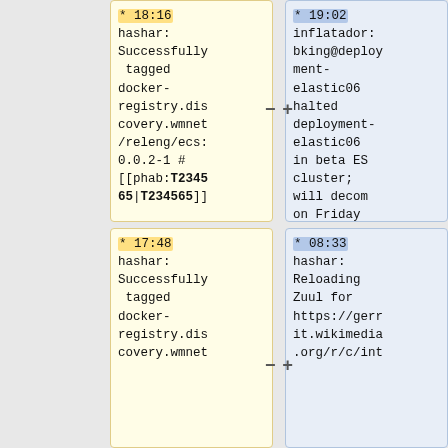| * 18:16
hashar: Successfully tagged docker-registry.discovery.wmnet/releng/ecs:0.0.2-1 #[[phab:T234565|T234565]] | * 19:02
inflatador: bking@deployment-elastic06 halted deployment-elastic06 in beta ES cluster; will decom on Friday [[phab:T299797|T299797]] |
| * 17:48
hashar: Successfully tagged docker-registry.discovery.wmnet | * 08:33
hashar: Reloading Zuul for https://gerrit.wikimedia.org/r/c/int |